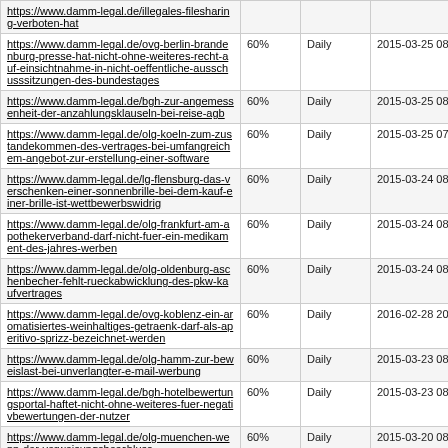| URL | Priority | Change Freq | Last Modified |
| --- | --- | --- | --- |
| https://www.damm-legal.de/illegales-filesharing-verboten-hat |  |  |  |
| https://www.damm-legal.de/ovg-berlin-brandenburg-presse-hat-nicht-ohne-weiteres-recht-auf-einsichtnahme-in-nicht-oeffentliche-ausschusssitzungen-des-bundestages | 60% | Daily | 2015-03-25 08:33 |
| https://www.damm-legal.de/bgh-zur-angemessenheit-der-anzahlungsklauseln-bei-reise-agb | 60% | Daily | 2015-03-25 08:18 |
| https://www.damm-legal.de/olg-koeln-zum-zustandekommen-des-vertrages-bei-umfangreichem-angebot-zur-erstellung-einer-software | 60% | Daily | 2015-03-25 07:54 |
| https://www.damm-legal.de/lg-flensburg-das-verschenken-einer-sonnenbrille-bei-dem-kauf-einer-brille-ist-wettbewerbswidrig | 60% | Daily | 2015-03-24 08:48 |
| https://www.damm-legal.de/olg-frankfurt-am-apothekerverband-darf-nicht-fuer-ein-medikament-des-jahres-werben | 60% | Daily | 2015-03-24 08:34 |
| https://www.damm-legal.de/olg-oldenburg-aschenbecher-fehlt-rueckabwicklung-des-pkw-kaufvertrages | 60% | Daily | 2015-03-24 08:24 |
| https://www.damm-legal.de/ovg-koblenz-ein-aromatisiertes-weinhaltiges-getraenk-darf-als-aperitivo-sprizz-bezeichnet-werden | 60% | Daily | 2016-02-28 20:11 |
| https://www.damm-legal.de/olg-hamm-zur-beweislast-bei-unverlangter-e-mail-werbung | 60% | Daily | 2015-03-23 08:16 |
| https://www.damm-legal.de/bgh-hotelbewertungsportal-haftet-nicht-ohne-weiteres-fuer-negativbewertungen-der-nutzer | 60% | Daily | 2015-03-23 08:11 |
| https://www.damm-legal.de/olg-muenchen-wenn-der-verweisungsbeschluss- | 60% | Daily | 2015-03-20 08:27 |